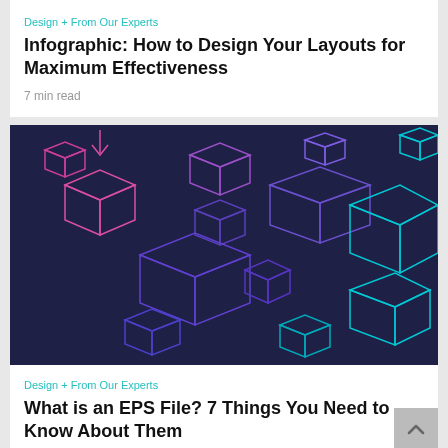Design + From Our Experts
Infographic: How to Design Your Layouts for Maximum Effectiveness
7 min read
[Figure (illustration): Dark navy blue background with neon-outlined 3D box/cube shapes in pink, purple, and cyan colors scattered across the image in a pattern]
Design + From Our Experts
What is an EPS File? 7 Things You Need to Know About Them